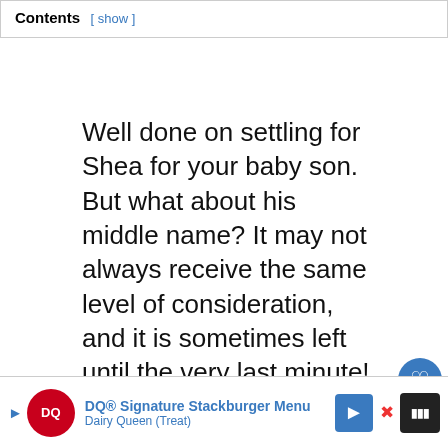Contents [ show ]
Well done on settling for Shea for your baby son. But what about his middle name? It may not always receive the same level of consideration, and it is sometimes left until the very last minute! But it can play an important role and it's vital you find something that both you, and he will love for years to come.
We've spent hours compiling the best middle names for a boy called Shea...
[Figure (screenshot): WHAT'S NEXT arrow link: What to Do if You...]
[Figure (screenshot): DQ Dairy Queen ad banner: DQ® Signature Stackburger Menu, Dairy Queen (Treat)]